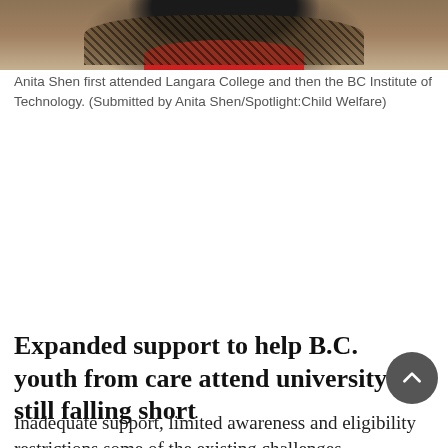[Figure (photo): Photo of Anita Shen wearing a dark fur coat with a red collar, photographed outdoors in winter]
Anita Shen first attended Langara College and then the BC Institute of Technology. (Submitted by Anita Shen/Spotlight:Child Welfare)
Expanded support to help B.C. youth from care attend university still falling short
Inadequate support, limited awareness and eligibility restrictions some of the existing challenges